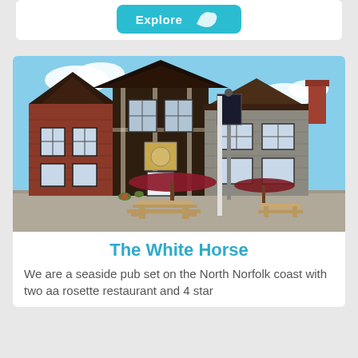[Figure (other): Explore button with cyan/teal background and map shape icon]
[Figure (photo): Exterior photograph of The White Horse pub, a red brick and flint building with dark timber-framed upper floor, burgundy parasols and wooden picnic tables outside, blue sky background]
The White Horse
We are a seaside pub set on the North Norfolk coast with two aa rosette restaurant and 4 star